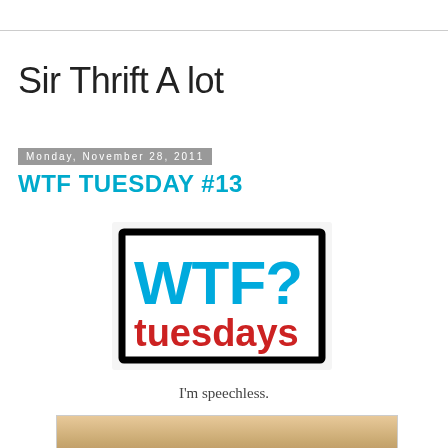Sir Thrift A lot
Monday, November 28, 2011
WTF TUESDAY #13
[Figure (logo): WTF? tuesdays logo with black border, 'WTF?' in blue bold text and 'tuesdays' in red text below]
I'm speechless.
[Figure (photo): Partial view of an object with a tan/beige textured surface, cropped at bottom of page]